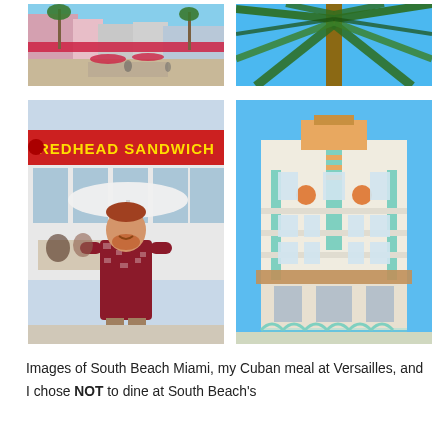[Figure (photo): South Beach Miami street scene with outdoor restaurant, pink building, palm trees, and pedestrian area]
[Figure (photo): Close-up view looking up at a palm tree against blue sky]
[Figure (photo): Man in Hawaiian shirt smiling in front of Redhead Sandwich restaurant on South Beach]
[Figure (photo): Art Deco building on South Beach Miami with mint green and pink pastel colors under blue sky]
Images of South Beach Miami, my Cuban meal at Versailles, and I chose NOT to dine at South Beach's